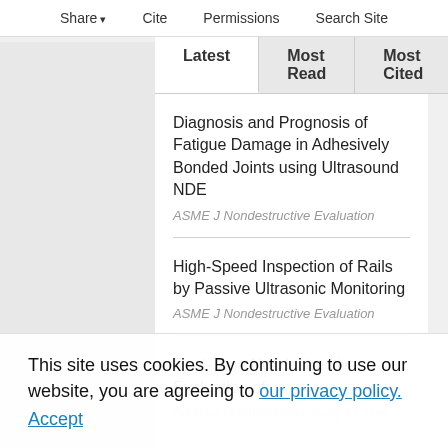Share   Cite   Permissions   Search Site
Latest | Most Read | Most Cited
Diagnosis and Prognosis of Fatigue Damage in Adhesively Bonded Joints using Ultrasound NDE
ASME J Nondestructive Evaluation
High-Speed Inspection of Rails by Passive Ultrasonic Monitoring
ASME J Nondestructive Evaluation
Real-Time Nondestructive Evaluation of
This site uses cookies. By continuing to use our website, you are agreeing to our privacy policy.
Accept